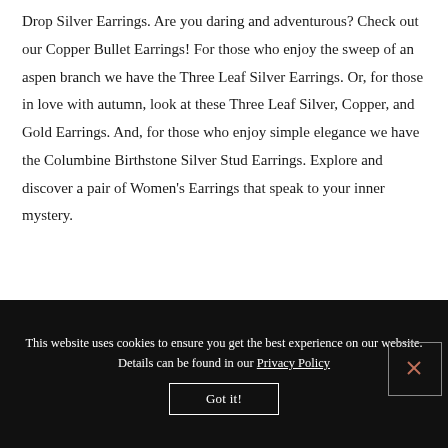Drop Silver Earrings. Are you daring and adventurous? Check out our Copper Bullet Earrings! For those who enjoy the sweep of an aspen branch we have the Three Leaf Silver Earrings. Or, for those in love with autumn, look at these Three Leaf Silver, Copper, and Gold Earrings. And, for those who enjoy simple elegance we have the Columbine Birthstone Silver Stud Earrings. Explore and discover a pair of Women's Earrings that speak to your inner mystery.
This website uses cookies to ensure you get the best experience on our website. Details can be found in our Privacy Policy
Got it!